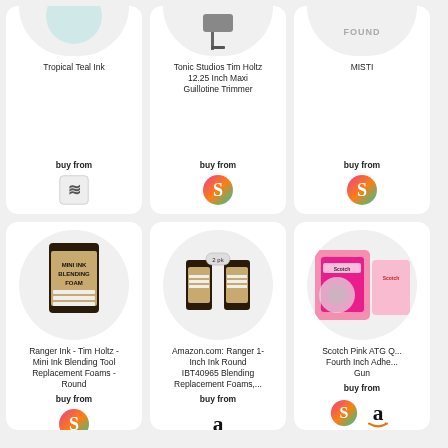[Figure (screenshot): Product grid showing 6 shopping items: Tropical Teal Ink, Tonic Studios Tim Holtz 12.25 Inch Maxi Guillotine Trimmer, MISTI, Ranger Ink Mini Ink Blending Tool Replacement Foams Round, Amazon.com Ranger 1-Inch Ink Round IBT40965 Blending Replacement Foams, Scotch Pink ATG Quarter Inch Adhesive Gun. Each card shows product image, title, buy from label, and retailer logo (Spellbinders S logo or Amazon A logo or Payhip logo).]